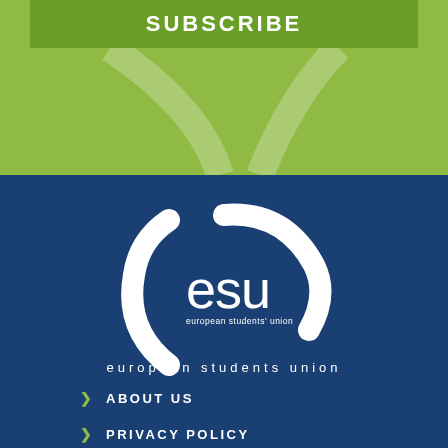SUBSCRIBE
[Figure (logo): ESU European Students Union logo — white curved arcs forming a circle with 'esu' text and 'european students union' below on dark blue background]
european students union
ABOUT US
PRIVACY POLICY
TERMS AND CONDITIONS